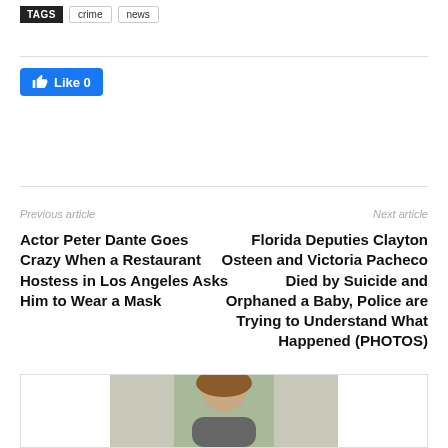TAGS  crime  news
[Figure (other): Facebook Like button showing 'Like 0']
Previous article
Next article
Actor Peter Dante Goes Crazy When a Restaurant Hostess in Los Angeles Asks Him to Wear a Mask
Florida Deputies Clayton Osteen and Victoria Pacheco Died by Suicide and Orphaned a Baby, Police are Trying to Understand What Happened (PHOTOS)
[Figure (photo): Partial photo of a person with curly brown hair at the bottom of the page]